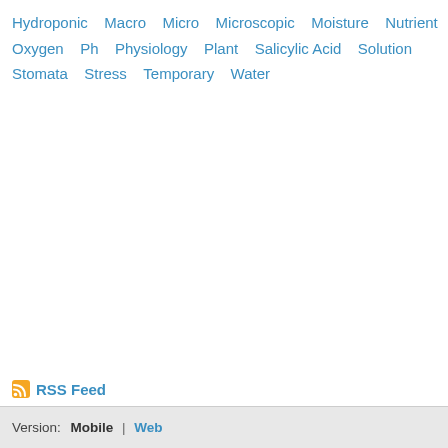Hydroponic
Macro
Micro
Microscopic
Moisture
Nutrient
Oxygen
Ph
Physiology
Plant
Salicylic Acid
Solution
Stomata
Stress
Temporary
Water
RSS Feed
Version: Mobile | Web